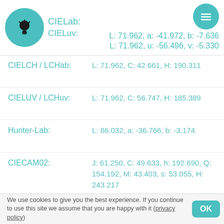CIELab: L: 71.962, a: -41.972, b: -7.636 | CIELuv: L: 71.962, u: -56.496, v: -5.330
CIELCH / LCHab: L: 71.962, C: 42.661, H: 190.311
CIELUV / LCHuv: L: 71.962, C: 56.747, H: 185.389
Hunter-Lab: L: 66.032, a: -36.766, b: -3.174
CIECAM02: J: 61.250, C: 49.633, h: 192.690, Q: 154.192, M: 43.403, s: 53.055, H: 243.217
OSA-UCS: leveza: -10.025, amarelo: -1.113, verde: 6.854
LMS: L: 31.156, M: 53.843, S: 54.781
YCbCr: Y: 133.810, Cb: 153.644, Cr: 42.085
We use cookies to give you the best experience. If you continue to use this site we assume that you are happy with it (privacy policy)